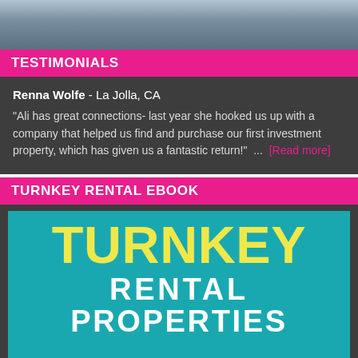[Figure (photo): Top photo of a property or landscape, partially visible, muted blue-grey tones]
TESTIMONIALS
Renna Wolfe - La Jolla, CA
“Ali has great connections- last year she hooked us up with a company that helped us find and purchase our first investment property, which has given us a fantastic return!” ... [Read more]
TURNKEY RENTAL EBOOK
[Figure (illustration): Book cover for 'Turnkey Rental Properties' with yellow TURNKEY text and white RENTAL PROPERTIES text on a teal background]